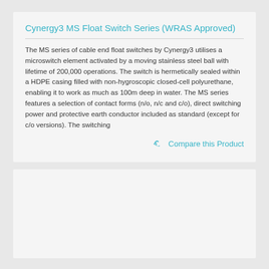Cynergy3 MS Float Switch Series (WRAS Approved)
The MS series of cable end float switches by Cynergy3 utilises a microswitch element activated by a moving stainless steel ball with lifetime of 200,000 operations. The switch is hermetically sealed within a HDPE casing filled with non-hygroscopic closed-cell polyurethane, enabling it to work as much as 100m deep in water. The MS series features a selection of contact forms (n/o, n/c and c/o), direct switching power and protective earth conductor included as standard (except for c/o versions). The switching
Compare this Product
[Figure (other): Empty card/placeholder area below the main product card]